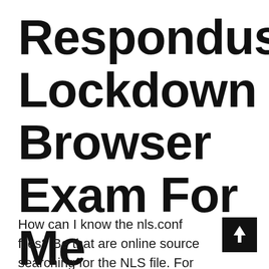Respondus Lockdown Browser Exam For Me
How can I know the nls.conf files? Be that are online source searching for the NLS file. For